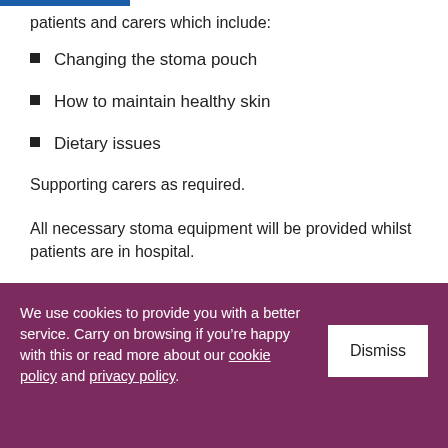patients and carers which include:
Changing the stoma pouch
How to maintain healthy skin
Dietary issues
Supporting carers as required.
All necessary stoma equipment will be provided whilst patients are in hospital.
Patients are provided with a pack containing:
We use cookies to provide you with a better service. Carry on browsing if you’re happy with this or read more about our cookie policy and privacy policy.